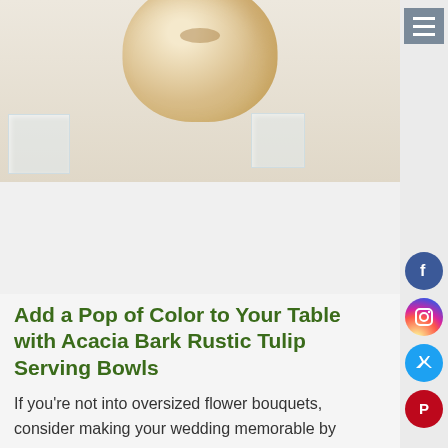[Figure (photo): Photo of an acacia bark rustic tulip serving bowl (round, light tan/wood colored bowl) on a white surface with glass cube vases on either side]
Add a Pop of Color to Your Table with Acacia Bark Rustic Tulip Serving Bowls
If you're not into oversized flower bouquets, consider making your wedding memorable by adding a pop of color to your table tops with astounding rustic tulip bowls. Minimize the costly flower bouquets by incorporating smaller, rustic tulip bowls that allows guests to enjoy lively color among the white table tops in your venue. Show